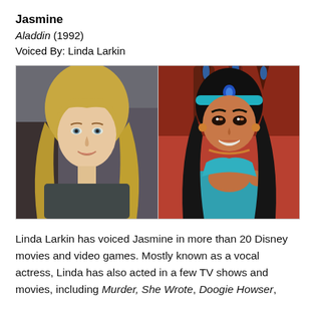Jasmine
Aladdin (1992)
Voiced By: Linda Larkin
[Figure (photo): Side-by-side image: left side shows a headshot of Linda Larkin, a blonde woman smiling; right side shows an animated image of Princess Jasmine from Disney's Aladdin with dark hair and teal outfit.]
Linda Larkin has voiced Jasmine in more than 20 Disney movies and video games. Mostly known as a vocal actress, Linda has also acted in a few TV shows and movies, including Murder, She Wrote, Doogie Howser,